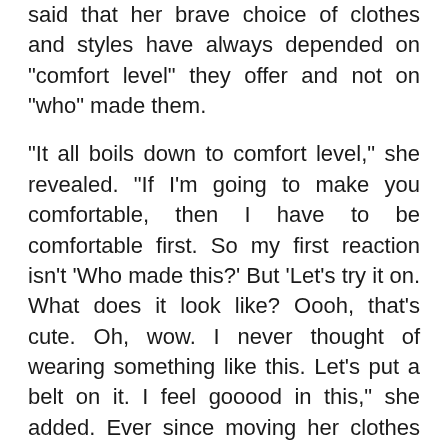said that her brave choice of clothes and styles have always depended on "comfort level" they offer and not on "who" made them.
"It all boils down to comfort level," she revealed. "If I'm going to make you comfortable, then I have to be comfortable first. So my first reaction isn't 'Who made this?' But 'Let's try it on. What does it look like? Oooh, that's cute. Oh, wow. I never thought of wearing something like this. Let's put a belt on it. I feel gooood in this," she added. Ever since moving her clothes into 1600 Pennsylvania Avenue, the Chicago native sought out to be a fashionable first lady all on her own as she had little political